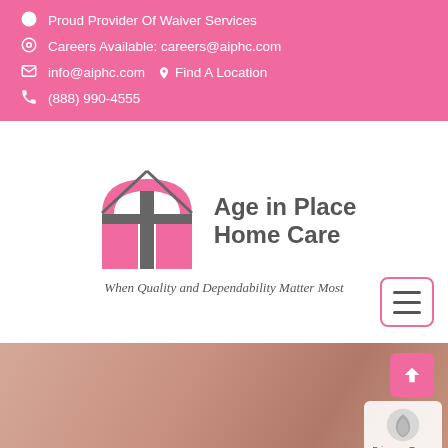Proud Provider Of Waiver Services
Careers Available: careers@aiphc.com
info@aiphc.com    Find A Location
(888) 990-4555
[Figure (logo): Age in Place Home Care logo — pink house/arch shape with text 'Age in Place Home Care' and tagline 'When Quality and Dependability Matter Most']
TRANSPLANTED